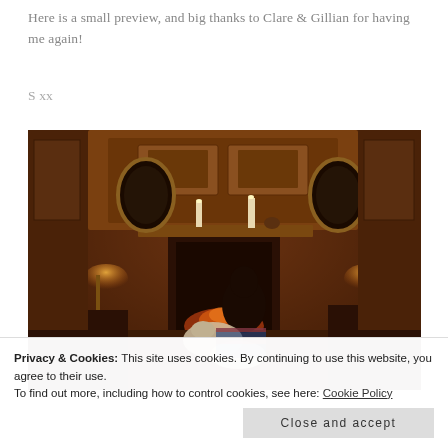Here is a small preview, and big thanks to Clare & Gillian for having me again!
S xx
[Figure (photo): A woman sitting by an ornate wooden fireplace in a grand room with paneled walls, oval mirrors, lamps, candles on the mantel, and two dogs.]
Privacy & Cookies: This site uses cookies. By continuing to use this website, you agree to their use.
To find out more, including how to control cookies, see here: Cookie Policy
Close and accept